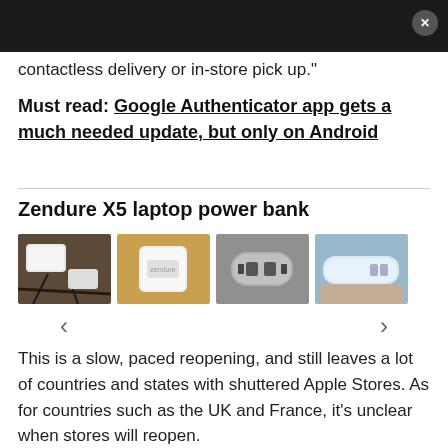contactless delivery or in-store pick up."
Must read: Google Authenticator app gets a much needed update, but only on Android
Zendure X5 laptop power bank
[Figure (photo): Four photos of the Zendure X5 laptop power bank showing different angles and views]
This is a slow, paced reopening, and still leaves a lot of countries and states with shuttered Apple Stores. As for countries such as the UK and France, it's unclear when stores will reopen.